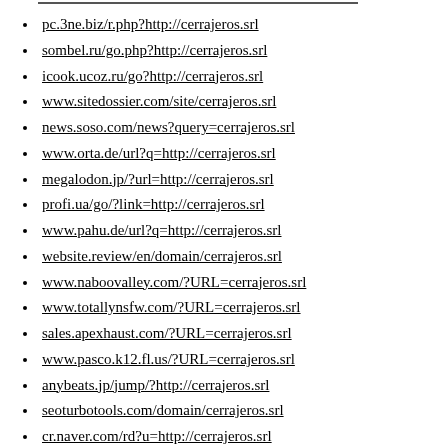pc.3ne.biz/r.php?http://cerrajeros.srl
sombel.ru/go.php?http://cerrajeros.srl
icook.ucoz.ru/go?http://cerrajeros.srl
www.sitedossier.com/site/cerrajeros.srl
news.soso.com/news?query=cerrajeros.srl
www.orta.de/url?q=http://cerrajeros.srl
megalodon.jp/?url=http://cerrajeros.srl
profi.ua/go/?link=http://cerrajeros.srl
www.pahu.de/url?q=http://cerrajeros.srl
website.review/en/domain/cerrajeros.srl
www.naboovalley.com/?URL=cerrajeros.srl
www.totallynsfw.com/?URL=cerrajeros.srl
sales.apexhaust.com/?URL=cerrajeros.srl
www.pasco.k12.fl.us/?URL=cerrajeros.srl
anybeats.jp/jump/?http://cerrajeros.srl
seoturbotools.com/domain/cerrajeros.srl
cr.naver.com/rd?u=http://cerrajeros.srl
anolink.com/?link=http://cerrajeros.srl
www.questsociety.ca/?URL=cerrajeros.srl